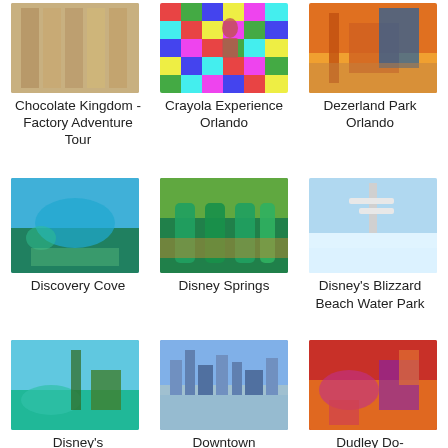[Figure (photo): Photo of Chocolate Kingdom - Factory Adventure Tour]
Chocolate Kingdom - Factory Adventure Tour
[Figure (photo): Photo of Crayola Experience Orlando]
Crayola Experience Orlando
[Figure (photo): Photo of Dezerland Park Orlando]
Dezerland Park Orlando
[Figure (photo): Photo of Discovery Cove]
Discovery Cove
[Figure (photo): Photo of Disney Springs]
Disney Springs
[Figure (photo): Photo of Disney's Blizzard Beach Water Park]
Disney's Blizzard Beach Water Park
[Figure (photo): Photo of Disney's (partial, cut off)]
Disney's
[Figure (photo): Photo of Downtown (partial, cut off)]
Downtown
[Figure (photo): Photo of Dudley Do- (partial, cut off)]
Dudley Do-